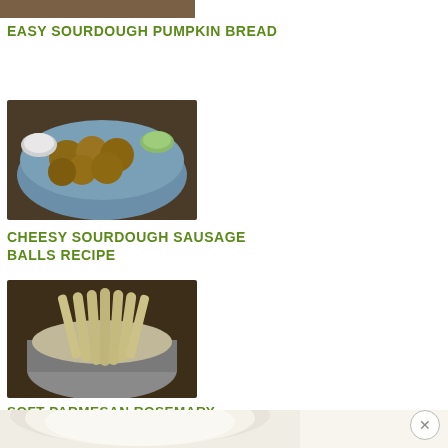[Figure (photo): Partial top food photo - sourdough pumpkin bread]
EASY SOURDOUGH PUMPKIN BREAD
[Figure (photo): Cheesy sourdough sausage balls in a blue bowl with dipping sauces]
CHEESY SOURDOUGH SAUSAGE BALLS RECIPE
[Figure (photo): Soft parmesan rosemary breadsticks in a cloth-lined bowl]
SOFT PARMESAN ROSEMARY BREADSTICKS {BETTER THAN OLIVE GARDEN}
[Figure (photo): Partial bottom photo - sourdough starter or soup in bowl]